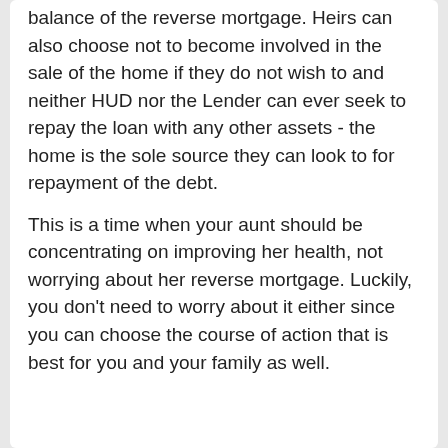balance of the reverse mortgage. Heirs can also choose not to become involved in the sale of the home if they do not wish to and neither HUD nor the Lender can ever seek to repay the loan with any other assets - the home is the sole source they can look to for repayment of the debt.
This is a time when your aunt should be concentrating on improving her health, not worrying about her reverse mortgage. Luckily, you don't need to worry about it either since you can choose the course of action that is best for you and your family as well.